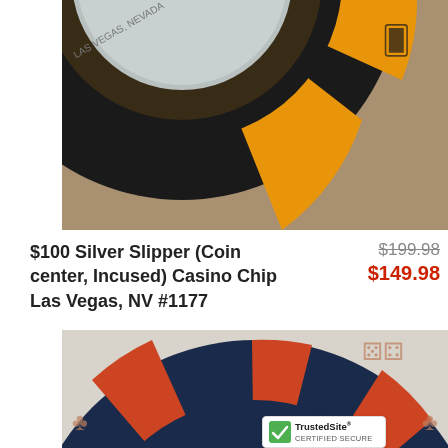[Figure (photo): Close-up photograph of a $100 Silver Slipper casino chip from Las Vegas, Nevada. The chip is orange and black with dice and playing card suit symbols molded into the black sections. The center shows a metallic coin inset with '$100' and 'LAS VEGAS, NEVADA' text. The chip rests on a textured surface.]
$100 Silver Slipper (Coin center, Incused) Casino Chip Las Vegas, NV #1177
$199.98
$149.98
[Figure (photo): Close-up photograph of a casino chip with dark navy/black and orange/red sections. The chip features dice and club suit symbols. The center shows a metallic inset with partial text visible. The chip rests on a light gray surface. A TrustedSite certified secure badge appears in the lower right corner.]